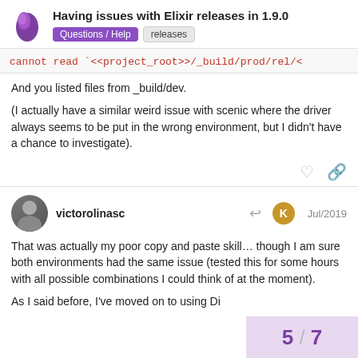Having issues with Elixir releases in 1.9.0 — Questions / Help — releases
cannot read `<<project_root>>/_build/prod/rel/<
And you listed files from _build/dev.
(I actually have a similar weird issue with scenic where the driver always seems to be put in the wrong environment, but I didn't have a chance to investigate).
victorolinasc   Jul/2019
That was actually my poor copy and paste skill… though I am sure both environments had the same issue (tested this for some hours with all possible combinations I could think of at the moment).
As I said before, I've moved on to using Di
5 / 7